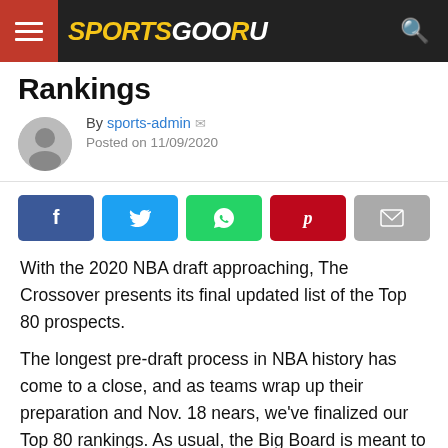SPORTSGOORU
Rankings
By sports-admin  Posted on 11/09/2020
[Figure (infographic): Social share buttons: Facebook, Twitter, WhatsApp, Pinterest, Email]
With the 2020 NBA draft approaching, The Crossover presents its final updated list of the Top 80 prospects.
The longest pre-draft process in NBA history has come to a close, and as teams wrap up their preparation and Nov. 18 nears, we've finalized our Top 80 rankings. As usual, the Big Board is meant to illustrate the draft's talent hierarchy regardless of which teams are picking where. You'll notice some mostly small changes to the list, based primarily on intel from teams and additional time to watch film and